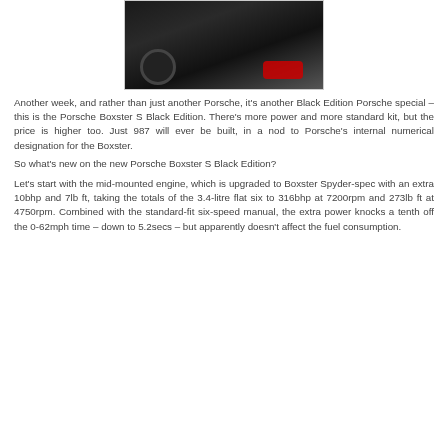[Figure (photo): Black Porsche Boxster S Black Edition viewed from rear at an angle, on a light gray showroom floor]
Another week, and rather than just another Porsche, it's another Black Edition Porsche special – this is the Porsche Boxster S Black Edition. There's more power and more standard kit, but the price is higher too. Just 987 will ever be built, in a nod to Porsche's internal numerical designation for the Boxster.
So what's new on the new Porsche Boxster S Black Edition?
Let's start with the mid-mounted engine, which is upgraded to Boxster Spyder-spec with an extra 10bhp and 7lb ft, taking the totals of the 3.4-litre flat six to 316bhp at 7200rpm and 273lb ft at 4750rpm. Combined with the standard-fit six-speed manual, the extra power knocks a tenth off the 0-62mph time – down to 5.2secs – but apparently doesn't affect the fuel consumption.